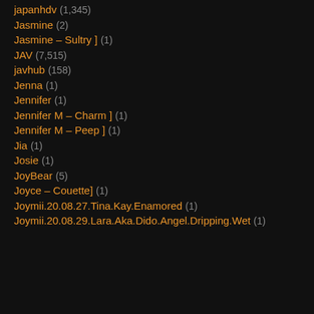japanhdv (1,345)
Jasmine (2)
Jasmine – Sultry ] (1)
JAV (7,515)
javhub (158)
Jenna (1)
Jennifer (1)
Jennifer M – Charm ] (1)
Jennifer M – Peep ] (1)
Jia (1)
Josie (1)
JoyBear (5)
Joyce – Couette] (1)
Joymii.20.08.27.Tina.Kay.Enamored (1)
Joymii.20.08.29.Lara.Aka.Dido.Angel.Dripping.Wet (1)